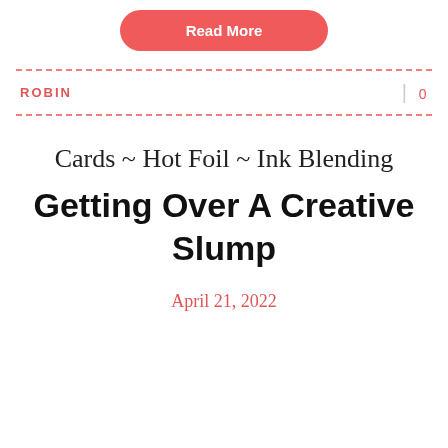Read More
ROBIN | 0
Cards ~ Hot Foil ~ Ink Blending
Getting Over A Creative Slump
April 21, 2022